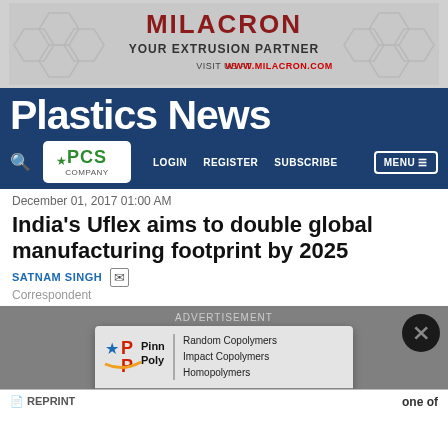[Figure (illustration): Milacron banner ad: 'MILACRON YOUR EXTRUSION PARTNER VISIT US AT WWW.MILACRON.COM' with chemical structure graphics on grey background]
Plastics News
[Figure (logo): PCS Company logo in white box]
LOGIN   REGISTER   SUBSCRIBE   MENU
December 01, 2017 01:00 AM
India's Uflex aims to double global manufacturing footprint by 2025
SATNAM SINGH  Correspondent
[Figure (illustration): Advertisement overlay with grey background. Pinnacle Polymers ad popup showing logo, 'Random Copolymers Impact Copolymers Homopolymers', and 'CLICK NOW TO VIEW OUR PRODUCTS' button. Close button (X) in upper right.]
REPRINT
one of